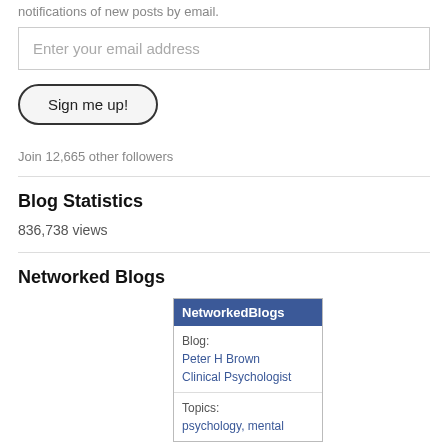notifications of new posts by email.
[Figure (screenshot): Email input field with placeholder text 'Enter your email address']
[Figure (screenshot): Button labeled 'Sign me up!' with rounded pill shape and dark border]
Join 12,665 other followers
Blog Statistics
836,738 views
Networked Blogs
[Figure (screenshot): NetworkedBlogs widget showing Blog: Peter H Brown Clinical Psychologist, Topics: psychology, mental]